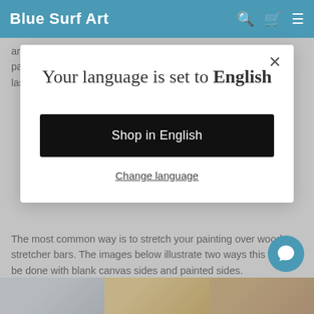Blue Surf Art
any environment. Created with the highest quality materials oil paintings will not only look superior to any print, they will also last longer.
Your language is set to English
Shop in English
Change language
The most common way is to stretch your painting over wooden stretcher bars. The images below illustrate two ways this could be done with blank canvas sides and painted sides.
[Figure (photo): Bottom strip of three art/canvas photos]